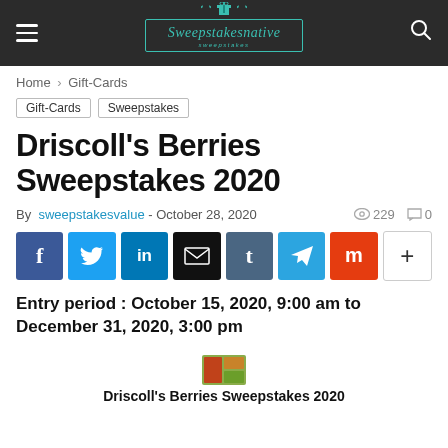Sweepstakesnative
Home > Gift-Cards
Gift-Cards
Sweepstakes
Driscoll's Berries Sweepstakes 2020
By sweepstakesvalue - October 28, 2020   229   0
[Figure (infographic): Social sharing buttons: Facebook, Twitter, LinkedIn, Email, Tumblr, Telegram, Mix, More]
Entry period : October 15, 2020, 9:00 am to December 31, 2020, 3:00 pm
[Figure (photo): Small thumbnail image of berries]
Driscoll's Berries Sweepstakes 2020